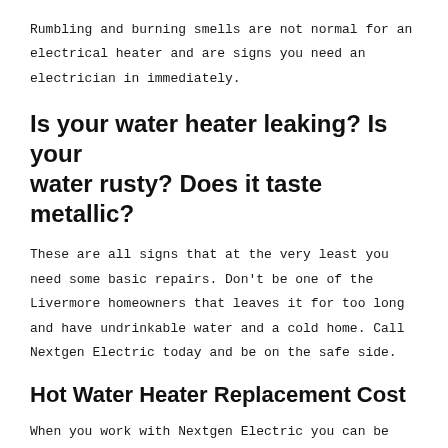Rumbling and burning smells are not normal for an electrical heater and are signs you need an electrician in immediately.
Is your water heater leaking? Is your water rusty? Does it taste metallic?
These are all signs that at the very least you need some basic repairs. Don't be one of the Livermore homeowners that leaves it for too long and have undrinkable water and a cold home. Call Nextgen Electric today and be on the safe side.
Hot Water Heater Replacement Cost
When you work with Nextgen Electric you can be sure that we will always do our best to get you